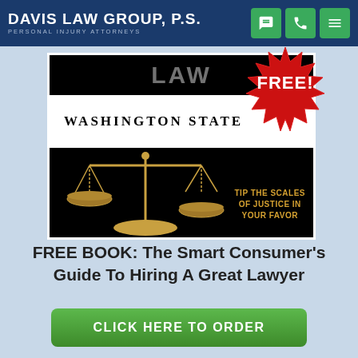Davis Law Group, P.S. — Personal Injury Attorneys
[Figure (illustration): Book cover for 'The Smart Consumer's Guide To Hiring A Great Lawyer' showing a balance/scales of justice on black background with 'WASHINGTON STATE' text band and a red 'FREE!' starburst badge, with gold text 'TIP THE SCALES OF JUSTICE IN YOUR FAVOR']
FREE BOOK: The Smart Consumer's Guide To Hiring A Great Lawyer
CLICK HERE TO ORDER